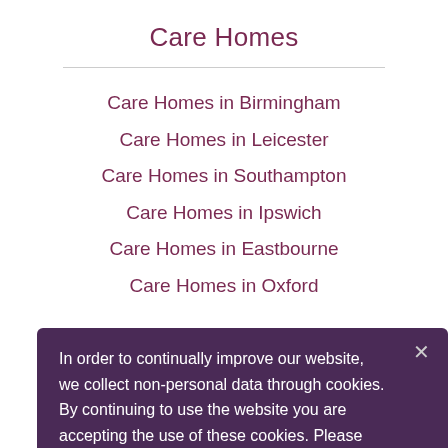Care Homes
Care Homes in Birmingham
Care Homes in Leicester
Care Homes in Southampton
Care Homes in Ipswich
Care Homes in Eastbourne
Care Homes in Oxford
In order to continually improve our website, we collect non-personal data through cookies. By continuing to use the website you are accepting the use of these cookies. Please read our privacy policy for more information.